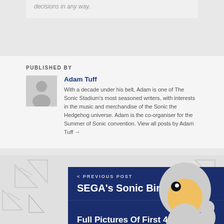decisions in any way.
PUBLISHED BY
Adam Tuff
With a decade under his belt, Adam is one of The Sonic Stadium's most seasoned writers, with interests in the music and merchandise of the Sonic the Hedgehog universe. Adam is the co-organiser for the Summer of Sonic convention. View all posts by Adam Tuff →
[Figure (illustration): Sonic the Hedgehog character illustration giving thumbs up]
< PREVIOUS POST
SEGA's Sonic Birthday Sale
NEXT POST >
Full Pictures Of First 4...